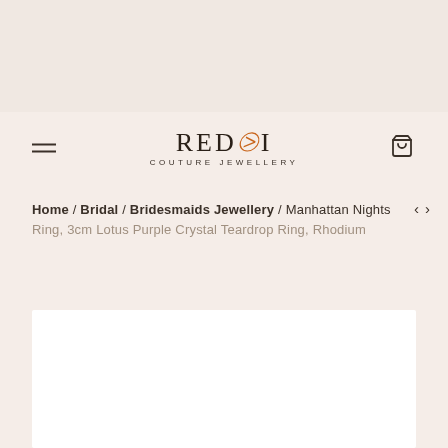[Figure (logo): REDKI Couture Jewellery logo with orange stylized K]
Home / Bridal / Bridesmaids Jewellery / Manhattan Nights Ring, 3cm Lotus Purple Crystal Teardrop Ring, Rhodium
[Figure (photo): White product image box at bottom of page]